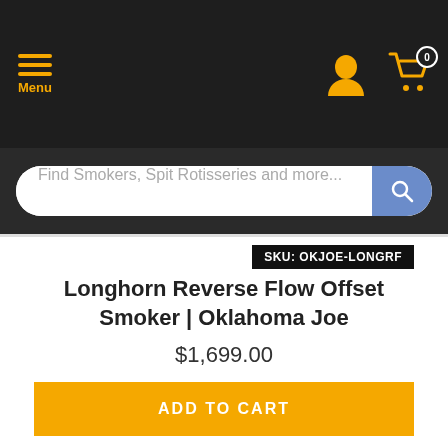Menu | User | Cart (0)
Find Smokers, Spit Rotisseries and more...
SKU: OKJOE-LONGRF
Longhorn Reverse Flow Offset Smoker | Oklahoma Joe
$1,699.00
ADD TO CART